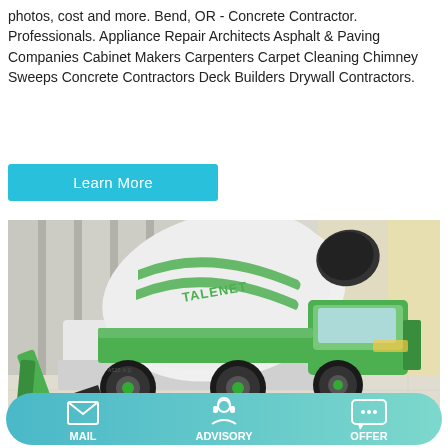photos, cost and more. Bend, OR - Concrete Contractor. Professionals. Appliance Repair Architects Asphalt & Paving Companies Cabinet Makers Carpenters Carpet Cleaning Chimney Sweeps Concrete Contractors Deck Builders Drywall Contractors.
Learn More
[Figure (photo): A green and white TALENET self-loading concrete mixer truck photographed against a modern building background with warm light.]
MAIL   ADVISORY   OFFER